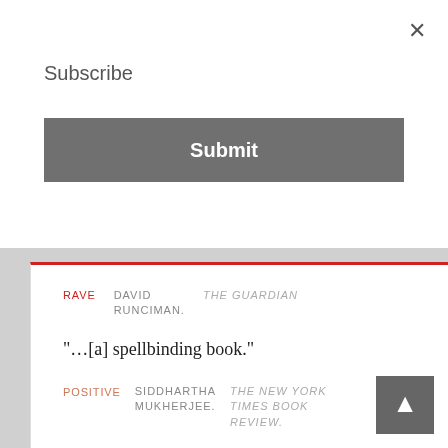Subscribe
Submit
RAVE  DAVID RUNCIMAN.  THE GUARDIAN
“…[a] spellbinding book.”
POSITIVE  SIDDHARTHA MUKHERJEE.  THE NEW YORK TIMES BOOK REVIEW
“Harari has, for my taste, a tendency to overstate the reach of such technological ‘fixes.’ Editing every disease-linked gene in the human genome is not as easy, or as technically feasible, as Harari might wish it — in part, because many diseases, we now know, are the consequences of dozens of gene variants, and of gene-environment